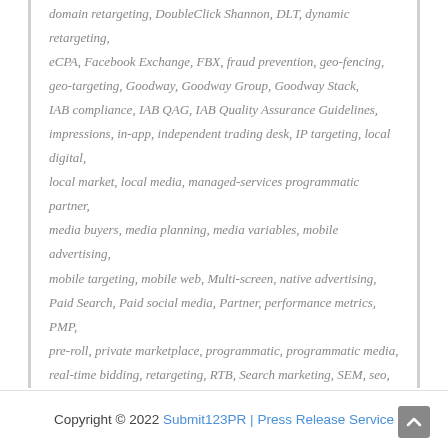domain retargeting, DoubleClick Shannon, DLT, dynamic retargeting, eCPA, Facebook Exchange, FBX, fraud prevention, geo-fencing, geo-targeting, Goodway, Goodway Group, Goodway Stack, IAB compliance, IAB QAG, IAB Quality Assurance Guidelines, impressions, in-app, independent trading desk, IP targeting, local digital, local market, local media, managed-services programmatic partner, media buyers, media planning, media variables, mobile advertising, mobile targeting, mobile web, Multi-screen, native advertising, Paid Search, Paid social media, Partner, performance metrics, PMP, pre-roll, private marketplace, programmatic, programmatic media, real-time bidding, retargeting, RTB, Search marketing, SEM, seo, site retargeting, social media buying, targeting, Tier II Automotive, Tier III Automotive, Trading desk, video, viewability
Copyright © 2022 Submit123PR | Press Release Service